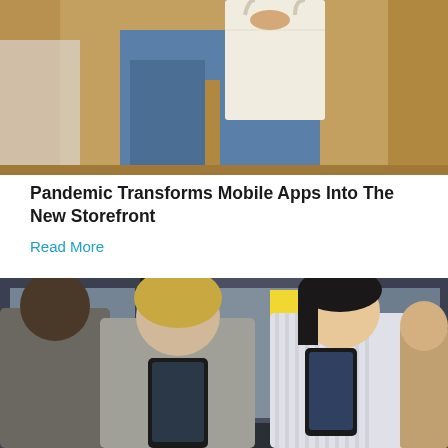[Figure (photo): Top portion of a photo showing a person in jeans carrying a paper shopping bag, with wooden paneling visible in the background. Partial view cropped at top of page.]
Pandemic Transforms Mobile Apps Into The New Storefront
Read More
[Figure (photo): Group of people looking at their smartphones. Two women in the foreground: one wearing a grey ribbed turtleneck holding a phone with both hands, another in a striped top smiling at her phone. A person in a white top is partially visible on the left. Dark window frames visible in the background with a yellow sticky note.]